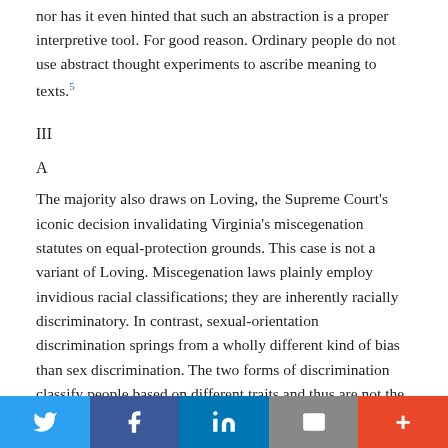nor has it even hinted that such an abstraction is a proper interpretive tool. For good reason. Ordinary people do not use abstract thought experiments to ascribe meaning to texts.5
III
A
The majority also draws on Loving, the Supreme Court's iconic decision invalidating Virginia's miscegenation statutes on equal-protection grounds. This case is not a variant of Loving. Miscegenation laws plainly employ invidious racial classifications; they are inherently racially discriminatory. In contrast, sexual-orientation discrimination springs from a wholly different kind of bias than sex discrimination. The two forms of discrimination classify people based on different traits and thus are not the same.
Social share bar: Twitter, Facebook, LinkedIn, Email, More